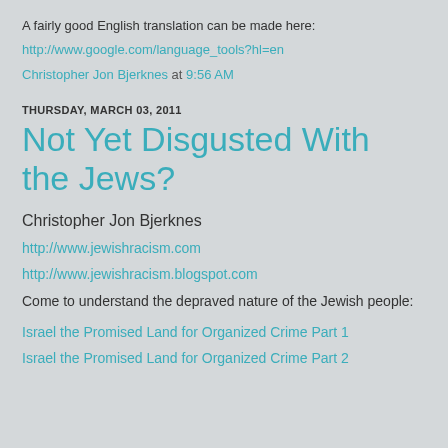A fairly good English translation can be made here:
http://www.google.com/language_tools?hl=en
Christopher Jon Bjerknes at 9:56 AM
THURSDAY, MARCH 03, 2011
Not Yet Disgusted With the Jews?
Christopher Jon Bjerknes
http://www.jewishracism.com
http://www.jewishracism.blogspot.com
Come to understand the depraved nature of the Jewish people:
Israel the Promised Land for Organized Crime Part 1
Israel the Promised Land for Organized Crime Part 2